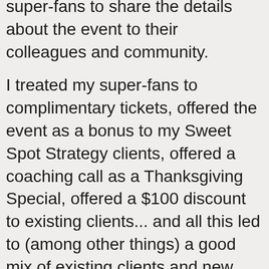super-fans to share the details about the event to their colleagues and community.
I treated my super-fans to complimentary tickets, offered the event as a bonus to my Sweet Spot Strategy clients, offered a coaching call as a Thanksgiving Special, offered a $100 discount to existing clients... and all this led to (among other things) a good mix of existing clients and new clients signing up.
Then, a bit unexpectedly, requests for a virtual option really started to pick up. So 2 weeks before the event, we decided to make it available and set to all the techy work with Zoom so we could